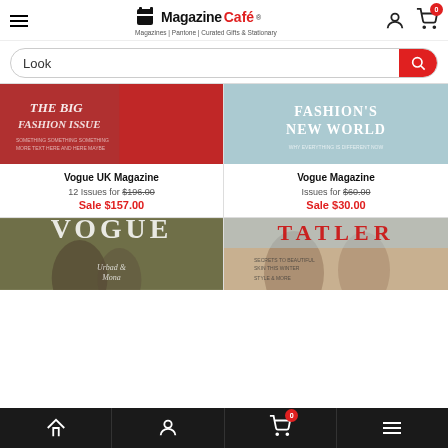Magazine Café — Magazines | Pantone | Curated Gifts & Stationary
Look
[Figure (screenshot): Vogue UK Magazine cover — The Big Fashion Issue, red background]
Vogue UK Magazine
12 Issues for $196.00
Sale $157.00
[Figure (screenshot): Vogue Magazine cover — Fashion's New World, light blue background]
Vogue Magazine
Issues for $60.00
Sale $30.00
[Figure (screenshot): Vogue magazine cover with VOGUE text, olive/green background]
[Figure (screenshot): Tatler magazine cover with two women, light background]
Home | Account | Cart (0) | Menu